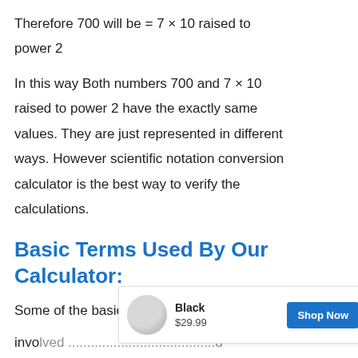Therefore 700 will be = 7 × 10 raised to power 2
In this way Both numbers 700 and 7 × 10 raised to power 2 have the exactly same values. They are just represented in different ways. However scientific notation conversion calculator is the best way to verify the calculations.
Basic Terms Used By Our Calculator:
Some of the basic terms that are commonly involved ... d
[Figure (other): Advertisement overlay showing a product image of a Black item, priced at $29.99 with a Shop Now button and a close (×) button.]